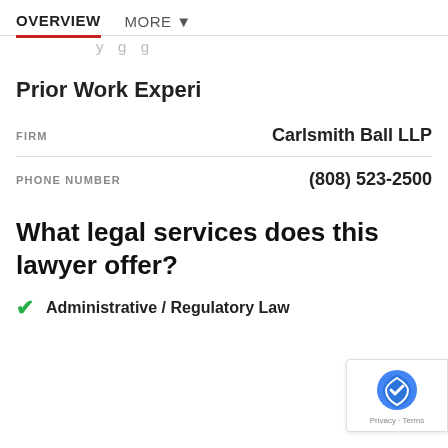OVERVIEW   MORE ▼
y  g  g
Prior Work Experi
|  |  |
| --- | --- |
| FIRM | Carlsmith Ball LLP |
| PHONE NUMBER | (808) 523-2500 |
What legal services does this lawyer offer?
Administrative / Regulatory Law